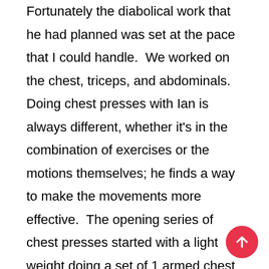Fortunately the diabolical work that he had planned was set at the pace that I could handle.  We worked on the chest, triceps, and abdominals.  Doing chest presses with Ian is always different, whether it's in the combination of exercises or the motions themselves; he finds a way to make the movements more effective.  The opening series of chest presses started with a light weight doing a set of 1 armed chest presses, I then picked up 45 lbs dumbbells and had to a set of 15 reps.  What was different was that I would have to do 5 reps pulsating on the lowest 1/3 of the motion, then 5 reps going 2/3 of the way, and finishing with 5 strong reps.  We did three sets of this exercise, and then moved